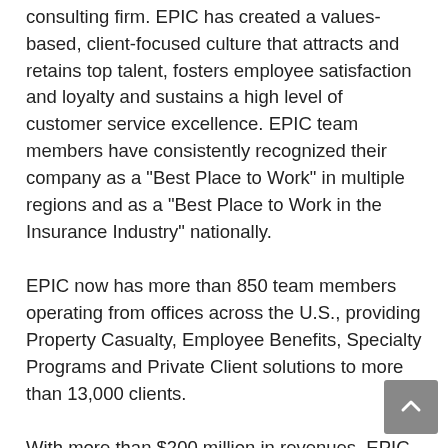consulting firm. EPIC has created a values-based, client-focused culture that attracts and retains top talent, fosters employee satisfaction and loyalty and sustains a high level of customer service excellence. EPIC team members have consistently recognized their company as a "Best Place to Work" in multiple regions and as a "Best Place to Work in the Insurance Industry" nationally.
EPIC now has more than 850 team members operating from offices across the U.S., providing Property Casualty, Employee Benefits, Specialty Programs and Private Client solutions to more than 13,000 clients.
With more than $200 million in revenues, EPIC ranks among the top 20 retail insurance brokers in the United